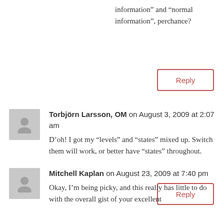information” and “normal information”, perchance?
Reply
Torbjörn Larsson, OM on August 3, 2009 at 2:07 am
D’oh! I got my “levels” and “states” mixed up. Switch them will work, or better have “states” throughout.
Reply
Mitchell Kaplan on August 23, 2009 at 7:40 pm
Okay, I’m being picky, and this really has little to do with the overall gist of your excellent